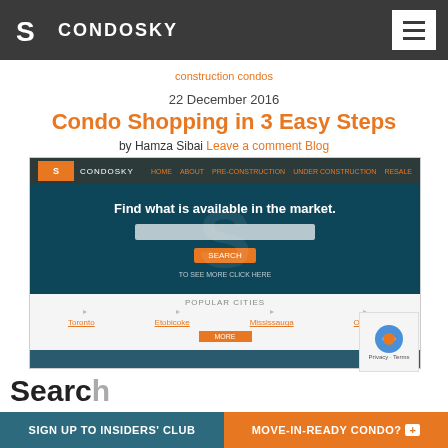CONDOSKY
construction condos
22 December 2016
Condo Shopping in 3 Easy Steps
by Hamza Sibai Leave a comment Blog
[Figure (screenshot): Screenshot of the Condosky website homepage showing 'Find what is available in the market.' search interface with popular cities Toronto, Etobicoke, Mississauga, Oakville]
Search
SIGN UP TO INSIDERS' CLUB
MOVE-IN-READY CONDO? +